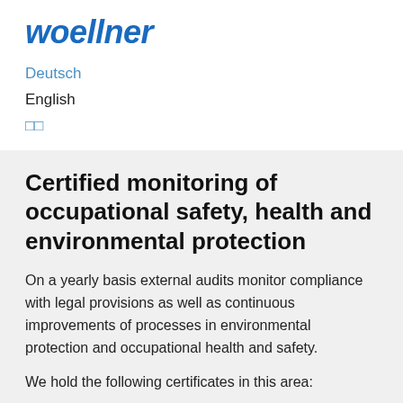[Figure (logo): Woellner company logo in blue italic bold text]
Deutsch
English
□□
Certified monitoring of occupational safety, health and environmental protection
On a yearly basis external audits monitor compliance with legal provisions as well as continuous improvements of processes in environmental protection and occupational health and safety.
We hold the following certificates in this area:
[Figure (illustration): Two certification badges/logos at the bottom of the page]